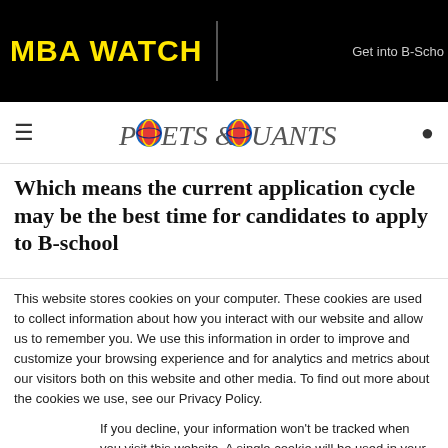MBA WATCH | Get into B-Scho
[Figure (logo): Poets & Quants logo with decorative globe/orb graphic replacing the O letters]
Which means the current application cycle may be the best time for candidates to apply to B-school
This website stores cookies on your computer. These cookies are used to collect information about how you interact with our website and allow us to remember you. We use this information in order to improve and customize your browsing experience and for analytics and metrics about our visitors both on this website and other media. To find out more about the cookies we use, see our Privacy Policy.
If you decline, your information won't be tracked when you visit this website. A single cookie will be used in your browser to remember your preference not to be tracked.